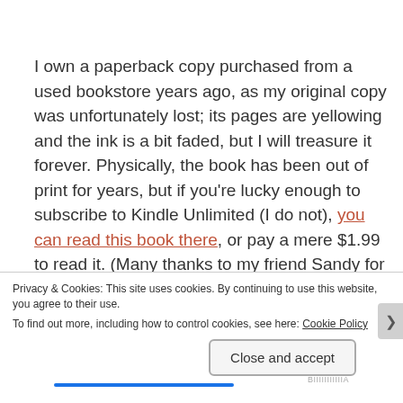I own a paperback copy purchased from a used bookstore years ago, as my original copy was unfortunately lost; its pages are yellowing and the ink is a bit faded, but I will treasure it forever. Physically, the book has been out of print for years, but if you're lucky enough to subscribe to Kindle Unlimited (I do not), you can read this book there, or pay a mere $1.99 to read it. (Many thanks to my friend Sandy for pointing this out! It gives me SO much joy knowing that people can still continue to experience the magic of this book.)
Privacy & Cookies: This site uses cookies. By continuing to use this website, you agree to their use.
To find out more, including how to control cookies, see here: Cookie Policy